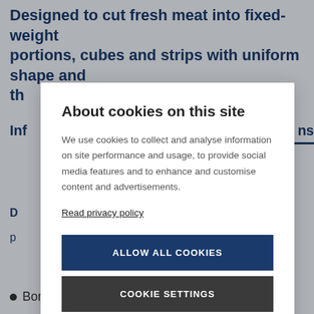Designed to cut fresh meat into fixed-weight portions, cubes and strips with uniform shape and t[...]
Inf[...] ns
D[...] p[...]
About cookies on this site
We use cookies to collect and analyse information on site performance and usage, to provide social media features and to enhance and customise content and advertisements.
Read privacy policy
ALLOW ALL COOKIES
COOKIE SETTINGS
Bone-in pork chops